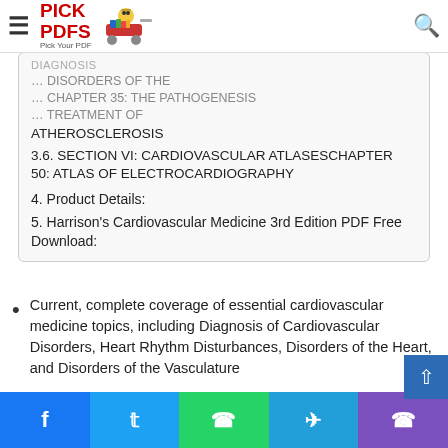PICK PDFS - Pick Your PDF (navigation bar with hamburger menu and search icon)
3.5. ... DISORDERS OF THE ... CHAPTER 35: THE PATHOGENESIS ... TREATMENT OF ATHEROSCLEROSIS
3.6. SECTION VI: CARDIOVASCULAR ATLASESCHAPTER 50: ATLAS OF ELECTROCARDIOGRAPHY
4. Product Details:
5. Harrison's Cardiovascular Medicine 3rd Edition PDF Free Download:
Current, complete coverage of essential cardiovascular medicine topics, including Diagnosis of Cardiovascular Disorders, Heart Rhythm Disturbances, Disorders of the Heart, and Disorders of the Vasculature
An important opening section “Introduction to Cardiovascular Disorders” provides a systems overvie…
Facebook | Twitter | WhatsApp | Telegram | Phone social share bar